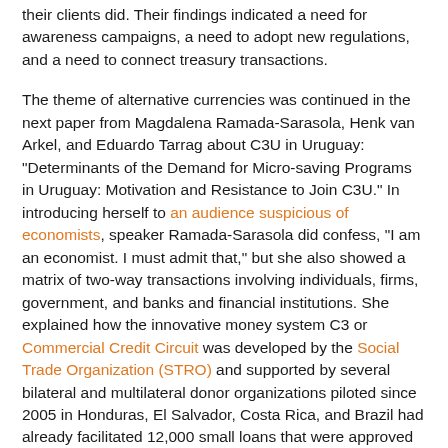their clients did. Their findings indicated a need for awareness campaigns, a need to adopt new regulations, and a need to connect treasury transactions.
The theme of alternative currencies was continued in the next paper from Magdalena Ramada-Sarasola, Henk van Arkel, and Eduardo Tarrag about C3U in Uruguay: "Determinants of the Demand for Micro-saving Programs in Uruguay: Motivation and Resistance to Join C3U." In introducing herself to an audience suspicious of economists, speaker Ramada-Sarasola did confess, "I am an economist. I must admit that," but she also showed a matrix of two-way transactions involving individuals, firms, government, and banks and financial institutions. She explained how the innovative money system C3 or Commercial Credit Circuit was developed by the Social Trade Organization (STRO) and supported by several bilateral and multilateral donor organizations piloted since 2005 in Honduras, El Salvador, Costa Rica, and Brazil had already facilitated 12,000 small loans that were approved in a circuit aimed at increasing liquidity by focusing on business-to-business transactions and setting up regional business networks.